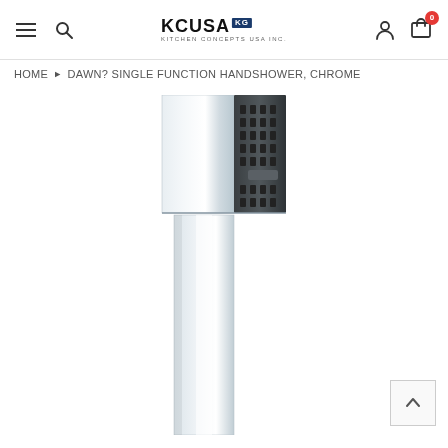KCUSA KG Kitchen Concepts USA Inc. — navigation header with hamburger menu, search, user, and cart (0) icons
HOME ▶ DAWN? SINGLE FUNCTION HANDSHOWER, CHROME
[Figure (photo): Chrome square hand shower with dark spray face panel, elongated rectangular body, shown vertically oriented against white background]